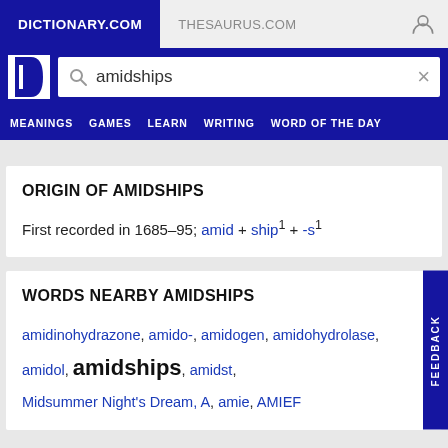DICTIONARY.COM | THESAURUS.COM
[Figure (screenshot): Dictionary.com search bar with logo and search term 'amidships']
MEANINGS  GAMES  LEARN  WRITING  WORD OF THE DAY
ORIGIN OF AMIDSHIPS
First recorded in 1685–95; amid + ship1 + -s1
WORDS NEARBY AMIDSHIPS
amidinohydrazone, amido-, amidogen, amidohydrolase, amidol, amidships, amidst, Midsummer Night's Dream, A, amie, AMIEF